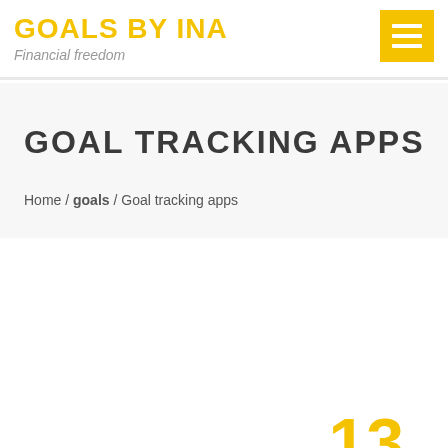GOALS BY INA — Financial freedom
GOAL TRACKING APPS
Home / goals / Goal tracking apps
13
AUG 2017
NO COMMENTS